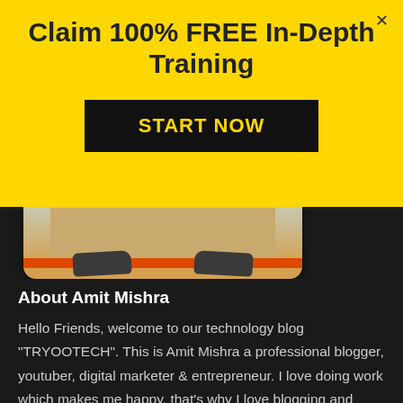Claim 100% FREE In-Depth Training
START NOW
[Figure (photo): Partial photo of a person's lower body, shoes visible, against an orange background stripe, inside a rounded rectangle frame]
About Amit Mishra
Hello Friends, welcome to our technology blog "TRYOOTECH". This is Amit Mishra a professional blogger, youtuber, digital marketer & entrepreneur. I love doing work which makes me happy, that's why I love blogging and youtubing. You will love exploring educational stuff on our blog.